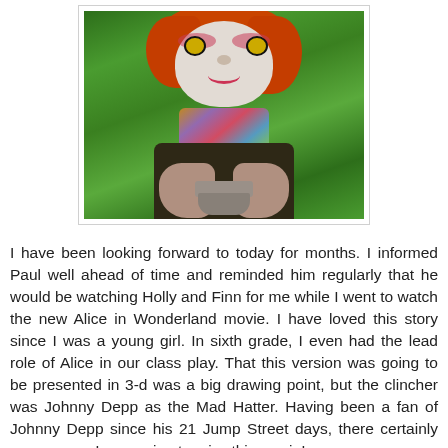[Figure (photo): Photo of Johnny Depp as the Mad Hatter from Alice in Wonderland. He has wild orange/red curly hair, white face paint with pink eye makeup, and is holding a tea cup. Set against a green background.]
I have been looking forward to today for months. I informed Paul well ahead of time and reminded him regularly that he would be watching Holly and Finn for me while I went to watch the new Alice in Wonderland movie. I have loved this story since I was a young girl. In sixth grade, I even had the lead role of Alice in our class play. That this version was going to be presented in 3-d was a big drawing point, but the clincher was Johnny Depp as the Mad Hatter. Having been a fan of Johnny Depp since his 21 Jump Street days, there certainly was no way I was going to miss this movie!